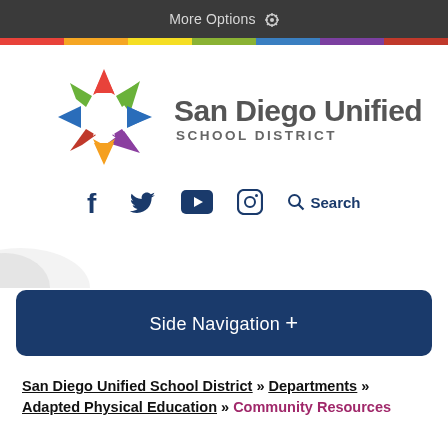More Options
[Figure (logo): San Diego Unified School District star/flower logo in red, green, blue, purple, orange colors]
San Diego Unified School District
f  (Twitter bird)  (YouTube play)  (Instagram)  Search
Side Navigation +
San Diego Unified School District » Departments » Adapted Physical Education » Community Resources